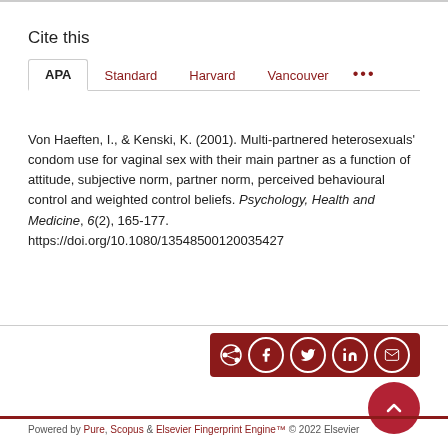Cite this
Von Haeften, I., & Kenski, K. (2001). Multi-partnered heterosexuals' condom use for vaginal sex with their main partner as a function of attitude, subjective norm, partner norm, perceived behavioural control and weighted control beliefs. Psychology, Health and Medicine, 6(2), 165-177. https://doi.org/10.1080/13548500120035427
Powered by Pure, Scopus & Elsevier Fingerprint Engine™ © 2022 Elsevier